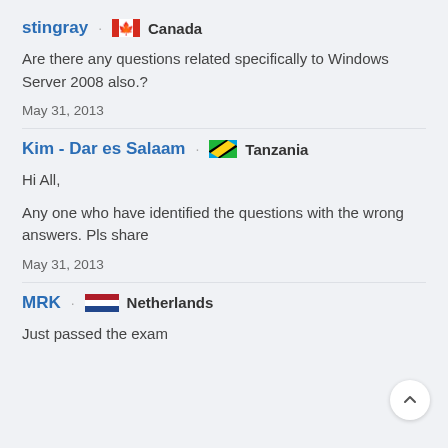stingray · Canada
Are there any questions related specifically to Windows Server 2008 also.?
May 31, 2013
Kim - Dar es Salaam · Tanzania
Hi All,
Any one who have identified the questions with the wrong answers. Pls share
May 31, 2013
MRK · Netherlands
Just passed the exam